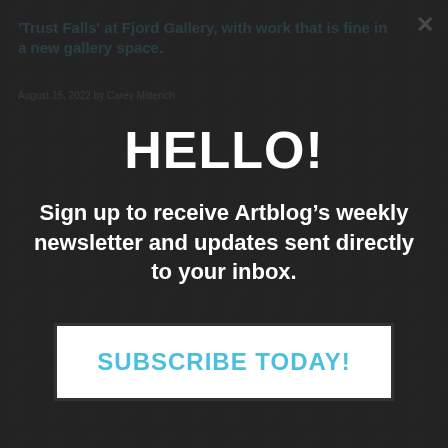[Figure (screenshot): Dark background showing an Artblog webpage with a lightning bolt pattern overlay. Behind the modal popup, text reads 'Trust Falls at Fjord Gallery, with work that is fine in a new gallery space.' and 'August 15, 2022 by Carey Mitterich'. A close (X) button appears in the top right.]
HELLO!
Sign up to receive Artblog’s weekly newsletter and updates sent directly to your inbox.
SUBSCRIBE TODAY!